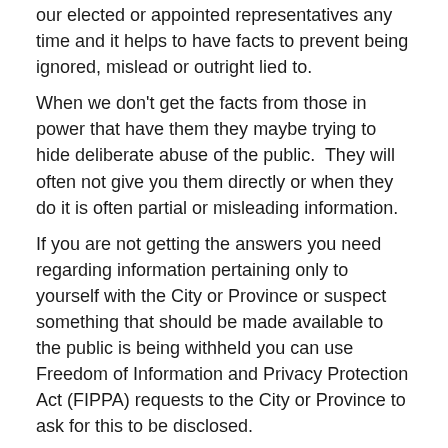our elected or appointed representatives any time and it helps to have facts to prevent being ignored, mislead or outright lied to.
When we don't get the facts from those in power that have them they maybe trying to hide deliberate abuse of the public.  They will often not give you them directly or when they do it is often partial or misleading information.
If you are not getting the answers you need regarding information pertaining only to yourself with the City or Province or suspect something that should be made available to the public is being withheld you can use Freedom of Information and Privacy Protection Act (FIPPA) requests to the City or Province to ask for this to be disclosed.
Be sure to share your responses with the group.
More info below.